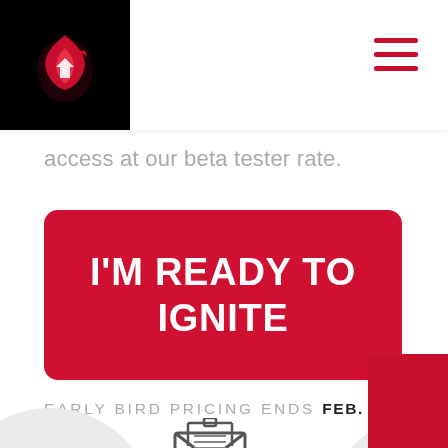[Logo: Ignite brand mark on black background] [Hamburger menu icon]
access at our beta tester rate.
I'M READY TO IGNITE
EARLY BIRD PRICING ENDS FEB. 1
[Figure (illustration): Email envelope icon at bottom left]
[Figure (illustration): Mobile/phone icon at bottom right]